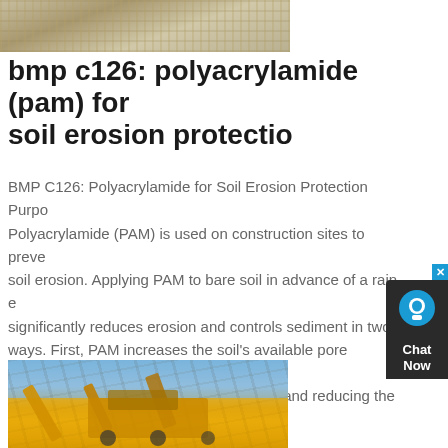[Figure (photo): Aerial/ground view of sandy soil or gravel material on a construction or mining site]
bmp c126: polyacrylamide (pam) for soil erosion protectio
BMP C126: Polyacrylamide for Soil Erosion Protection Purpose: Polyacrylamide (PAM) is used on construction sites to prevent soil erosion. Applying PAM to bare soil in advance of a rain event significantly reduces erosion and controls sediment in two ways. First, PAM increases the soil's available pore volume, thus increasing infiltration through flocculation and reducing the quantity of
get price
[Figure (photo): Large yellow industrial mining/crushing machinery with conveyor belts against a cloudy sky]